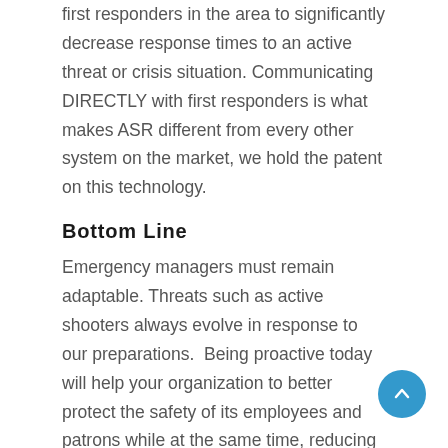first responders in the area to significantly decrease response times to an active threat or crisis situation. Communicating DIRECTLY with first responders is what makes ASR different from every other system on the market, we hold the patent on this technology.
Bottom Line
Emergency managers must remain adaptable. Threats such as active shooters always evolve in response to our preparations.  Being proactive today will help your organization to better protect the safety of its employees and patrons while at the same time, reducing the financial risk of not being prepared should an incident occur.
Have questions or wish to schedule a virtual